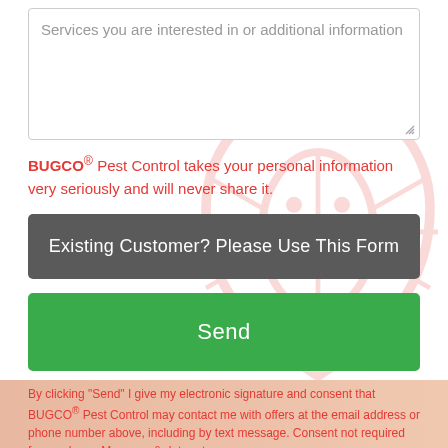[Figure (other): Text input textarea box with placeholder text 'Services you are interested in or additional information']
BUGCO® Pest Control takes your personal information very seriously and will never share it.
Existing Customer? Please Use This Form
Send
By clicking "Send" I give my electronic signature and consent that BUGCO® Pest Control may contact me with offers at the email address or phone number above, including by text message. Consent not required for purchase. Message & data rates